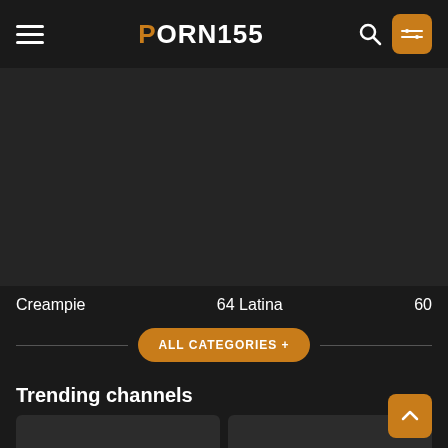PORN155
Creampie   64   Latina   60
ALL CATEGORIES +
Trending channels
FreeUse Milf
Shagging Moms